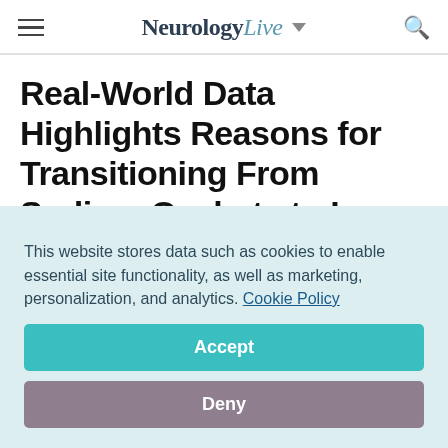NeurologyLive
Real-World Data Highlights Reasons for Transitioning From Sodium Oxybate to Lower Sodium Oxybate
June 4, 2022
Marco Meglio
This website stores data such as cookies to enable essential site functionality, as well as marketing, personalization, and analytics. Cookie Policy
Accept
Deny